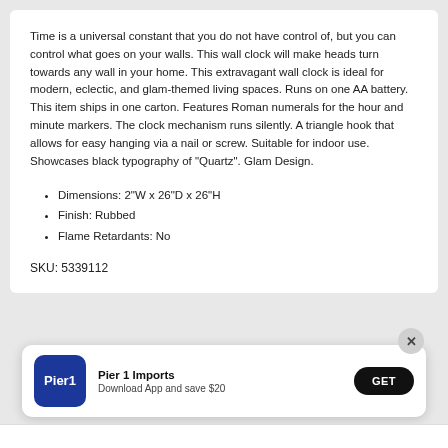Time is a universal constant that you do not have control of, but you can control what goes on your walls. This wall clock will make heads turn towards any wall in your home. This extravagant wall clock is ideal for modern, eclectic, and glam-themed living spaces. Runs on one AA battery. This item ships in one carton. Features Roman numerals for the hour and minute markers. The clock mechanism runs silently. A triangle hook that allows for easy hanging via a nail or screw. Suitable for indoor use. Showcases black typography of "Quartz". Glam Design.
Dimensions: 2"W x 26"D x 26"H
Finish: Rubbed
Flame Retardants: No
SKU: 5339112
[Figure (logo): Pier 1 Imports app banner with blue logo, 'Pier1' text, 'Download App and save $20' subtitle, and a GET button]